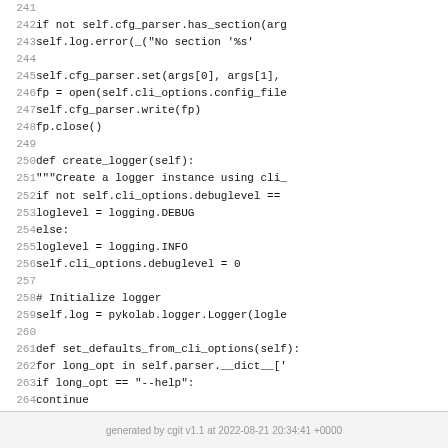[Figure (screenshot): Source code listing showing Python class methods, lines 241-266, with line numbers on the left and code on the right. Background is white.]
generated by cgit v1.1 at 2022-08-21 20:34:41 +0000